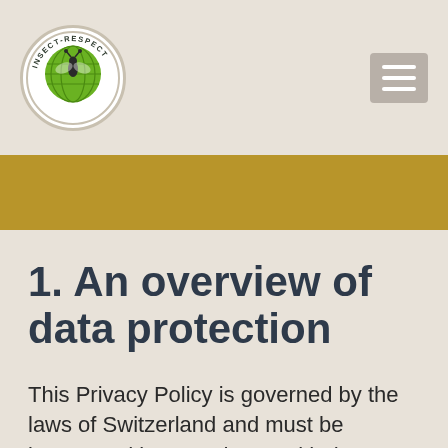[Figure (logo): Insect-Respect logo: a circular badge with a green globe/insect graphic and text 'INSECT-RESPECT' around the border]
1. An overview of data protection
This Privacy Policy is governed by the laws of Switzerland and must be interpreted in accordance with these laws. The provisions take into